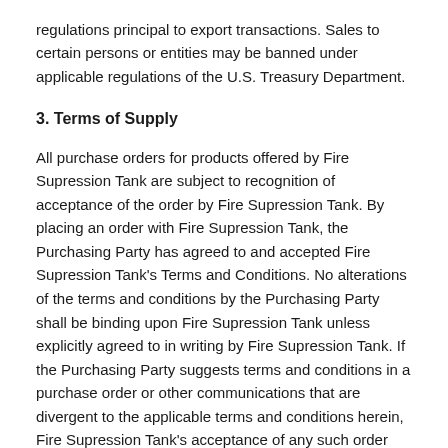regulations principal to export transactions. Sales to certain persons or entities may be banned under applicable regulations of the U.S. Treasury Department.
3. Terms of Supply
All purchase orders for products offered by Fire Supression Tank are subject to recognition of acceptance of the order by Fire Supression Tank. By placing an order with Fire Supression Tank, the Purchasing Party has agreed to and accepted Fire Supression Tank's Terms and Conditions. No alterations of the terms and conditions by the Purchasing Party shall be binding upon Fire Supression Tank unless explicitly agreed to in writing by Fire Supression Tank. If the Purchasing Party suggests terms and conditions in a purchase order or other communications that are divergent to the applicable terms and conditions herein, Fire Supression Tank's acceptance of any such order shall not be